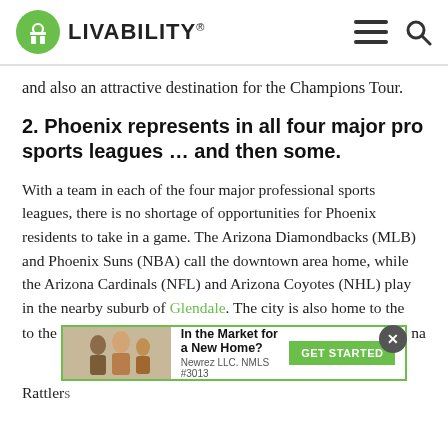LIVABILITY
and also an attractive destination for the Champions Tour.
2. Phoenix represents in all four major pro sports leagues … and then some.
With a team in each of the four major professional sports leagues, there is no shortage of opportunities for Phoenix residents to take in a game. The Arizona Diamondbacks (MLB) and Phoenix Suns (NBA) call the downtown area home, while the Arizona Cardinals (NFL) and Arizona Coyotes (NHL) play in the nearby suburb of Glendale. The city is also home to the ... na Rattlers ... ntion
[Figure (other): Advertisement banner: 'In the Market for a New Home? Newrez LLC. NMLS #3013 GET STARTED' with a photo of people and a close button]